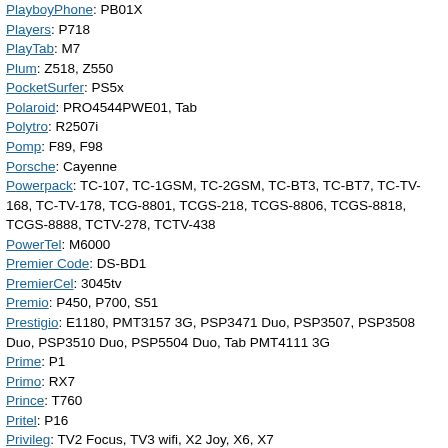PlayboyPhone: PB01X
Players: P718
PlayTab: M7
Plum: Z518, Z550
PocketSurfer: PS5x
Polaroid: PRO4544PWE01, Tab
Polytro: R2507i
Pomp: F89, F98
Porsche: Cayenne
Powerpack: TC-107, TC-1GSM, TC-2GSM, TC-BT3, TC-BT7, TC-TV-168, TC-TV-178, TCG-8801, TCGS-218, TCGS-8806, TCGS-8818, TCGS-8888, TCTV-278, TCTV-438
PowerTel: M6000
Premier Code: DS-BD1
PremierCel: 3045tv
Premio: P450, P700, S51
Prestigio: E1180, PMT3157 3G, PSP3471 Duo, PSP3507, PSP3508 Duo, PSP3510 Duo, PSP5504 Duo, Tab PMT4111 3G
Prime: P1
Primo: RX7
Prince: T760
Pritel: P16
Privileg: TV2 Focus, TV3 wifi, X2 Joy, X6, X7
Priviler: TV3 wifi
Prolink: F1000
Proscan: PLT7100g
Pulid: D1689
Q-Tab: Q100, Q1000, Q1100, Q300, Q400, Q800, Q850, V6
Q-Titano: Bos
Qbest: Q380-B
Qiao-Shong: QS840, QS880
QiaoSheng: QS840, QS880
Qiliu: Q7T7lah